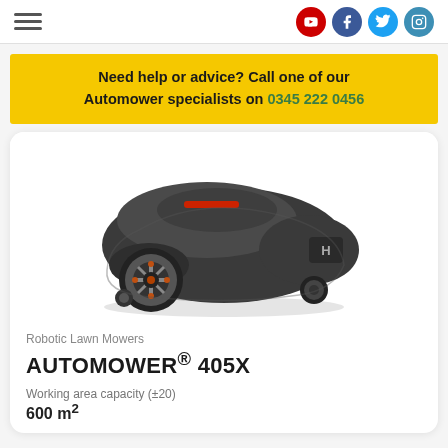Navigation header with hamburger menu and social icons (YouTube, Facebook, Twitter, Instagram)
Need help or advice? Call one of our Automower specialists on 0345 222 0456
[Figure (photo): Husqvarna Automower 405X robotic lawn mower, dark grey color, viewed from front-left angle, showing large side wheels with orange/grey details and Husqvarna logo on the side. Red accent on top.]
Robotic Lawn Mowers
AUTOMOWER® 405X
Working area capacity (±20)
600 m²